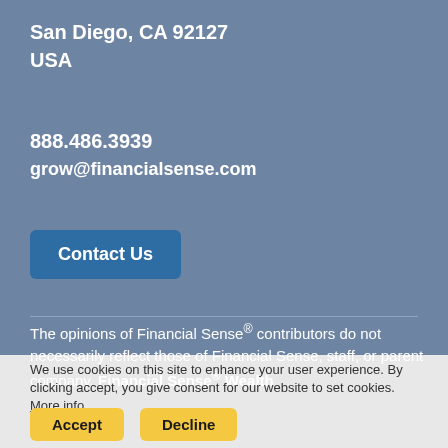San Diego, CA 92127
USA
888.486.3939
grow@financialsense.com
Contact Us
The opinions of Financial Sense® contributors do not necessarily reflect those of Financial Sense, staff, or parent company, Financial Sense® Wealth
We use cookies on this site to enhance your user experience. By clicking accept, you give consent for our website to set cookies. More info
Accept
Decline